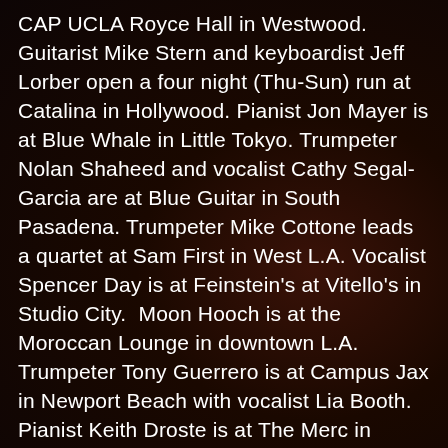CAP UCLA Royce Hall in Westwood. Guitarist Mike Stern and keyboardist Jeff Lorber open a four night (Thu-Sun) run at Catalina in Hollywood. Pianist Jon Mayer is at Blue Whale in Little Tokyo. Trumpeter Nolan Shaheed and vocalist Cathy Segal-Garcia are at Blue Guitar in South Pasadena. Trumpeter Mike Cottone leads a quartet at Sam First in West L.A. Vocalist Spencer Day is at Feinstein's at Vitello's in Studio City.  Moon Hooch is at the Moroccan Lounge in downtown L.A. Trumpeter Tony Guerrero is at Campus Jax in Newport Beach with vocalist Lia Booth. Pianist Keith Droste is at The Merc in Temecula. Guitarist/vocalist Teka is at The Winery in Ventura. The Organ Donors are at Seven Grand in downtown L.A.   Bassist David Ross is at the downtown LA Athletic Club with vocalist Barbara Morrison. Drummer Ben Rose is at Perch in downtown L.A. Drummer Tyler Hammond is at Black Rabbit Rose in Hollywood. Pianist/vocalist Yve Evans is at Woody's Palm House in Palm Springs. Saxophonist David Patterson is at Pips On